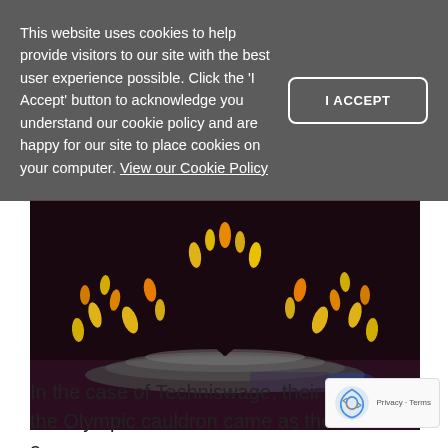This website uses cookies to help provide visitors to our site with the best user experience possible. Click the 'I Accept' button to acknowledge you understand our cookie policy and are happy for our site to place cookies on your computer. View our Cookie Policy
[Figure (photo): Olympic cauldron at night with many flames/torches lit, arranged in a circular pattern on a platform, dark dramatic background]
In the case of Techniswage, their creation of the Olympic cauldron came as the result of a